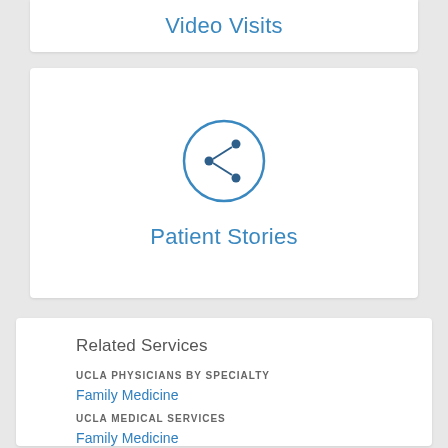Video Visits
[Figure (illustration): Share icon (circle with share/network symbol) in blue outline style]
Patient Stories
Related Services
UCLA PHYSICIANS BY SPECIALTY
Family Medicine
UCLA MEDICAL SERVICES
Family Medicine
Medicine